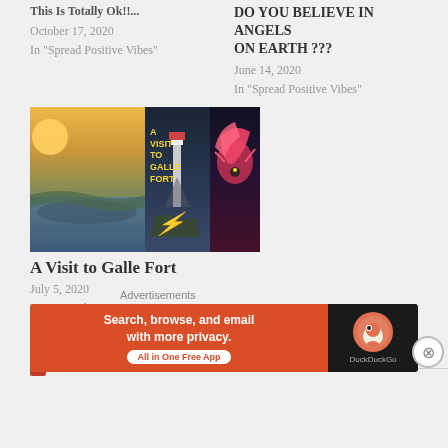This Is Totally Ok!!! October 17, 2020 In "Spread Positive Vibes"
DO YOU BELIEVE IN ANGELS ON EARTH ??? June 14, 2020 In "Spread Positive Vibes"
[Figure (photo): Composite image of three panels: left panel shows coastal landscape with warm golden light, center panel shows A Visit to Galle Fort text with lighthouse at dusk, right panel shows a colorful fantasy bird illustration]
A Visit to Galle Fort
July 5, 2020
In "Sri Lankan Diary"
Advertisements
[Figure (other): DuckDuckGo advertisement banner: Search, browse, and email with more privacy. All in One Free App. DuckDuckGo logo on right.]